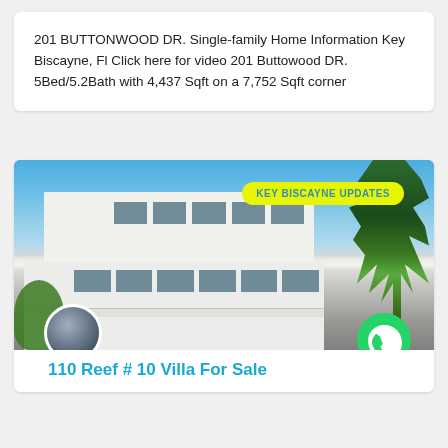201 BUTTONWOOD DR. Single-family Home Information Key Biscayne, Fl Click here for video 201 Buttowood DR. 5Bed/5.2Bath with 4,437 Sqft on a 7,752 Sqft corner
[Figure (photo): Exterior photo of a modern white two-story home in Key Biscayne with palm trees, blue sky, and a yellow 'KEY BISCAYNE UPDATES' badge overlay. A circular avatar photo and WhatsApp icon appear at the bottom.]
110 Reef # 10 Villa For Sale